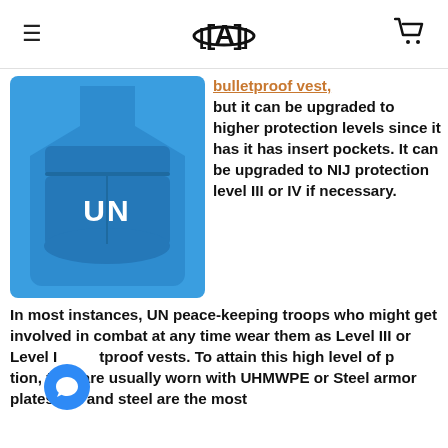≡  [logo]  🛒
[Figure (photo): Blue UN bulletproof vest with 'UN' text printed in white on the front]
bulletproof vest, but it can be upgraded to higher protection levels since it has it has insert pockets. It can be upgraded to NIJ protection level III or IV if necessary. In most instances, UN peace-keeping troops who might get involved in combat at any time wear them as Level III or Level IV bulletproof vests. To attain this high level of protection, they are usually worn with UHMWPE or Steel armor plates. PE and steel are the most